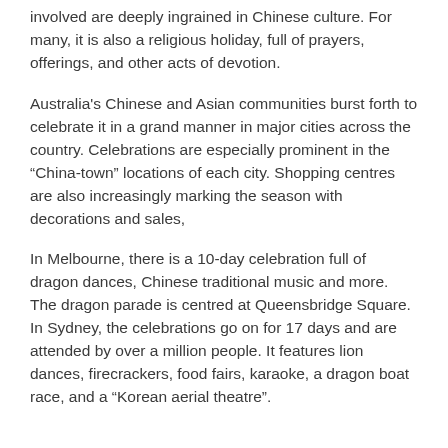involved are deeply ingrained in Chinese culture. For many, it is also a religious holiday, full of prayers, offerings, and other acts of devotion.
Australia's Chinese and Asian communities burst forth to celebrate it in a grand manner in major cities across the country. Celebrations are especially prominent in the “China-town” locations of each city. Shopping centres are also increasingly marking the season with decorations and sales,
In Melbourne, there is a 10-day celebration full of dragon dances, Chinese traditional music and more. The dragon parade is centred at Queensbridge Square. In Sydney, the celebrations go on for 17 days and are attended by over a million people. It features lion dances, firecrackers, food fairs, karaoke, a dragon boat race, and a “Korean aerial theatre”.